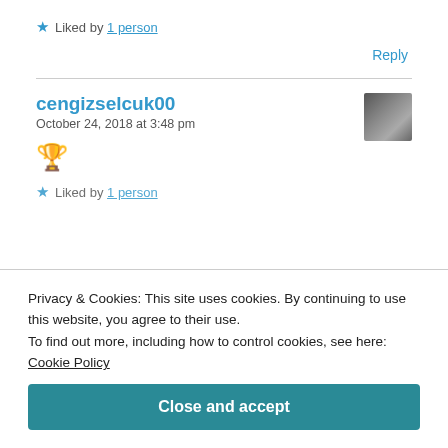★ Liked by 1 person
Reply
cengizselcuk00
October 24, 2018 at 3:48 pm
[Figure (photo): Avatar/profile photo of commenter cengizselcuk00]
🏆
★ Liked by 1 person
Privacy & Cookies: This site uses cookies. By continuing to use this website, you agree to their use. To find out more, including how to control cookies, see here: Cookie Policy
Close and accept